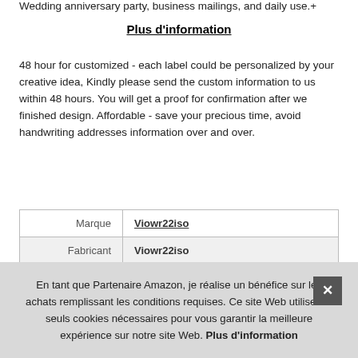Wedding anniversary party, business mailings, and daily use.+
Plus d'information
48 hour for customized - each label could be personalized by your creative idea, Kindly please send the custom information to us within 48 hours. You will get a proof for confirmation after we finished design. Affordable - save your precious time, avoid handwriting addresses information over and over.
| Marque | Viowr22iso |
| Fabricant | Viowr22iso |
En tant que Partenaire Amazon, je réalise un bénéfice sur les achats remplissant les conditions requises. Ce site Web utilise les seuls cookies nécessaires pour vous garantir la meilleure expérience sur notre site Web. Plus d'information